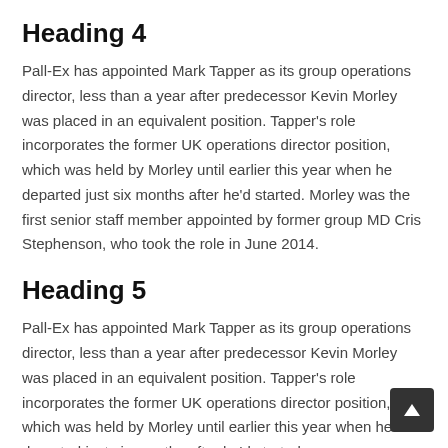Heading 4
Pall-Ex has appointed Mark Tapper as its group operations director, less than a year after predecessor Kevin Morley was placed in an equivalent position. Tapper's role incorporates the former UK operations director position, which was held by Morley until earlier this year when he departed just six months after he'd started. Morley was the first senior staff member appointed by former group MD Cris Stephenson, who took the role in June 2014.
Heading 5
Pall-Ex has appointed Mark Tapper as its group operations director, less than a year after predecessor Kevin Morley was placed in an equivalent position. Tapper's role incorporates the former UK operations director position, which was held by Morley until earlier this year when he departed just six months after he'd started.